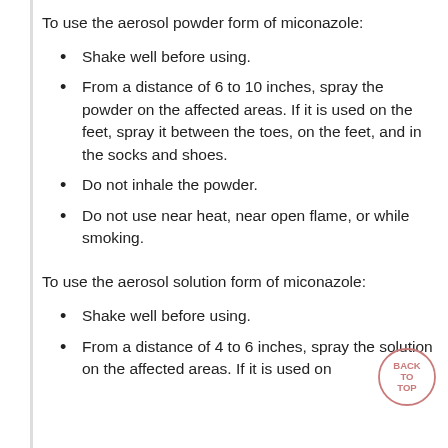To use the aerosol powder form of miconazole:
Shake well before using.
From a distance of 6 to 10 inches, spray the powder on the affected areas. If it is used on the feet, spray it between the toes, on the feet, and in the socks and shoes.
Do not inhale the powder.
Do not use near heat, near open flame, or while smoking.
To use the aerosol solution form of miconazole:
Shake well before using.
From a distance of 4 to 6 inches, spray the solution on the affected areas. If it is used on